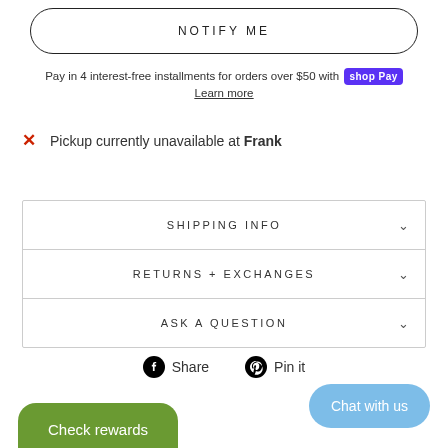NOTIFY ME
Pay in 4 interest-free installments for orders over $50 with Shop Pay
Learn more
✕ Pickup currently unavailable at Frank
SHIPPING INFO
RETURNS + EXCHANGES
ASK A QUESTION
Share   Pin it
Chat with us
Check rewards